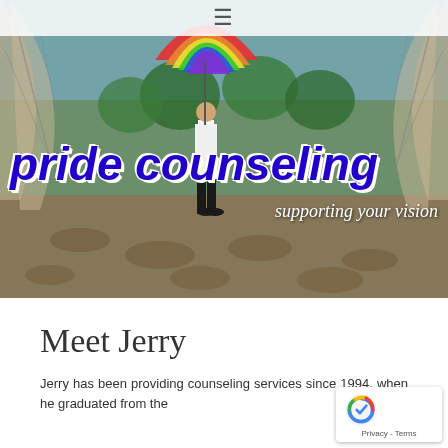[Figure (photo): Hero banner image: person standing under a colorful rainbow umbrella beneath an architectural arch structure, with trees in background. Overlaid with 'pride counseling' in large bold blue italic text and 'supporting your vision' subtitle in white italic.]
≡ (navigation hamburger menu)
pride counseling
supporting your vision
Meet Jerry
Jerry has been providing counseling se... since 1994, when he graduated from the...